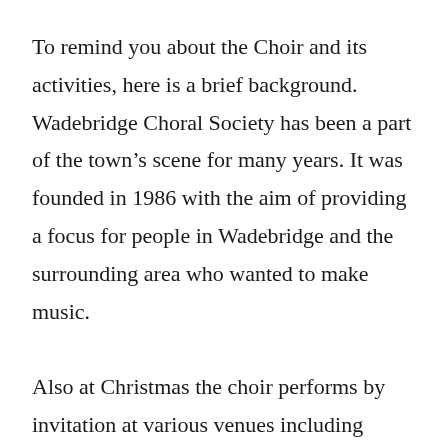To remind you about the Choir and its activities, here is a brief background. Wadebridge Choral Society has been a part of the town's scene for many years. It was founded in 1986 with the aim of providing a focus for people in Wadebridge and the surrounding area who wanted to make music.

Also at Christmas the choir performs by invitation at various venues including Tesco